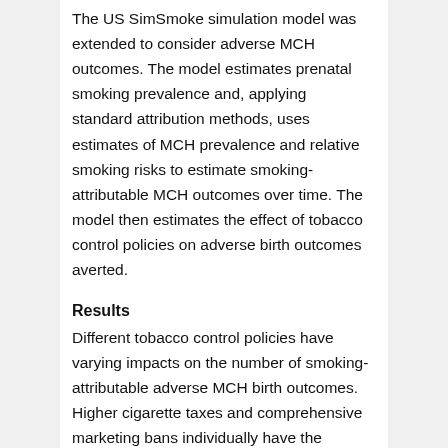The US SimSmoke simulation model was extended to consider adverse MCH outcomes. The model estimates prenatal smoking prevalence and, applying standard attribution methods, uses estimates of MCH prevalence and relative smoking risks to estimate smoking-attributable MCH outcomes over time. The model then estimates the effect of tobacco control policies on adverse birth outcomes averted.
Results
Different tobacco control policies have varying impacts on the number of smoking-attributable adverse MCH birth outcomes. Higher cigarette taxes and comprehensive marketing bans individually have the biggest impact with a 5% to 10% reduction across all outcomes for the period from 2015 to 2065. The policies with the lowest impact (2%–3% decrease) during this period are